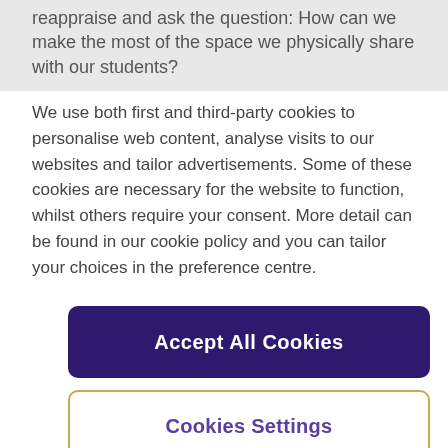reappraise and ask the question: How can we make the most of the space we physically share with our students?
We use both first and third-party cookies to personalise web content, analyse visits to our websites and tailor advertisements. Some of these cookies are necessary for the website to function, whilst others require your consent. More detail can be found in our cookie policy and you can tailor your choices in the preference centre.
Accept All Cookies
Cookies Settings